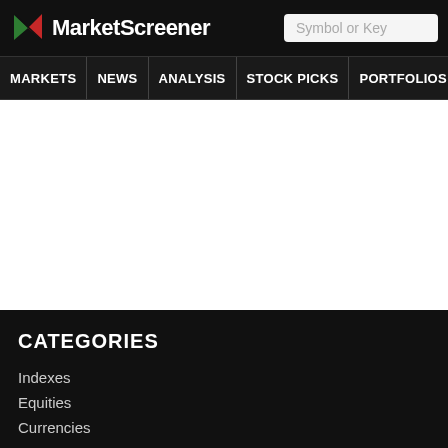MarketScreener
MARKETS NEWS ANALYSIS STOCK PICKS PORTFOLIOS WATCHLI
CATEGORIES
Indexes
Equities
Currencies